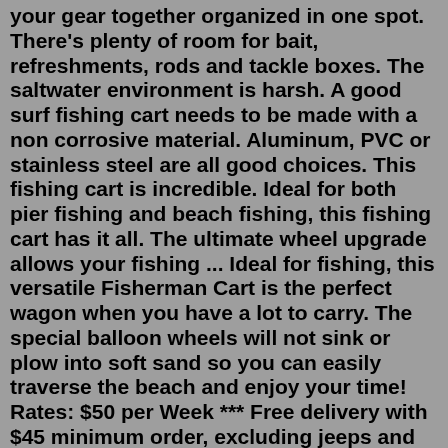your gear together organized in one spot. There's plenty of room for bait, refreshments, rods and tackle boxes. The saltwater environment is harsh. A good surf fishing cart needs to be made with a non corrosive material. Aluminum, PVC or stainless steel are all good choices. This fishing cart is incredible. Ideal for both pier fishing and beach fishing, this fishing cart has it all. The ultimate wheel upgrade allows your fishing ... Ideal for fishing, this versatile Fisherman Cart is the perfect wagon when you have a lot to carry. The special balloon wheels will not sink or plow into soft sand so you can easily traverse the beach and enjoy your time! Rates: $50 per Week *** Free delivery with $45 minimum order, excluding jeeps and slingshots. 7.8. 9. TWO 16" Beach Wheel Cart Balloon Fishing Kayak Sand Cart Tire -NEW. 7.4. View Product. 7.4. 10. Jeremywell Outdoor Heavy Duty Aluminum Beach Cart/Fishing Cart with Big Wheels for Fishing. Fish N Mate Junior Beach Fishing Cart with Front Caster by Angler's. $285.49 $299.00. Sale. The Beach Caddy with Balloon Tires.